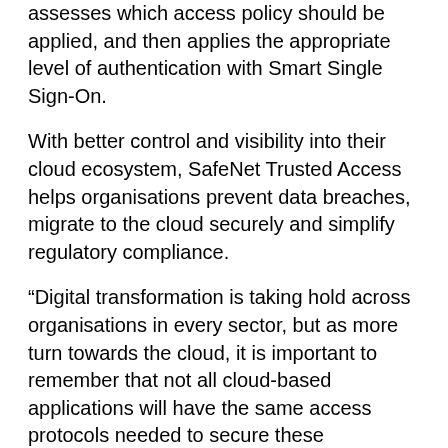assesses which access policy should be applied, and then applies the appropriate level of authentication with Smart Single Sign-On.
With better control and visibility into their cloud ecosystem, SafeNet Trusted Access helps organisations prevent data breaches, migrate to the cloud securely and simplify regulatory compliance.
“Digital transformation is taking hold across organisations in every sector, but as more turn towards the cloud, it is important to remember that not all cloud-based applications will have the same access protocols needed to secure these environments,” says Thales access management solutions vice president Francois Lasnier.
“As such, we have enabled SafeNet Trusted Access customers with cloud-based authentication, to build and run their business activities in a multi-cloud world.